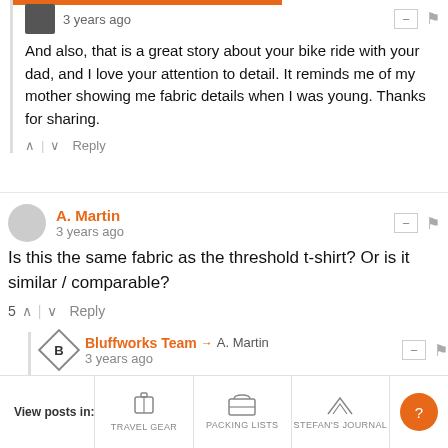3 years ago
And also, that is a great story about your bike ride with your dad, and I love your attention to detail. It reminds me of my mother showing me fabric details when I was young. Thanks for sharing.
Reply
A. Martin
3 years ago
Is this the same fabric as the threshold t-shirt? Or is it similar / comparable?
5  Reply
Bluffworks Team → A. Martin
3 years ago
No, it's different. Note the comment above about the Lacoste polo. What we were trying to achieve visually required a completely different fabric and approach. More dressy, different
View posts in:  TRAVEL GEAR  PACKING LISTS  STEFAN'S JOURNAL